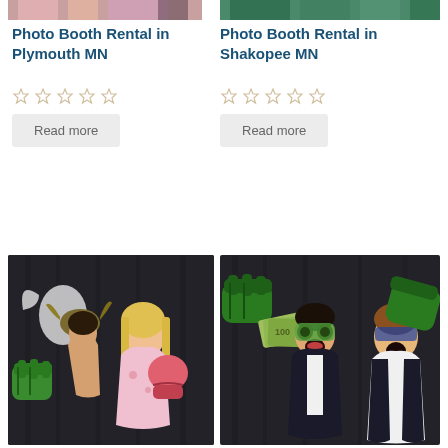[Figure (photo): Partial photo strip at top left showing people in a photo booth with colorful costumes]
[Figure (photo): Partial photo strip at top right showing people in a photo booth wearing green clothing]
Photo Booth Rental in Plymouth MN
Photo Booth Rental in Shakopee MN
Star rating (empty stars)
Star rating (empty stars)
Read more
Read more
[Figure (photo): Photo booth picture of two women posing with Hulk hands and boxing gloves in front of a dark backdrop]
[Figure (photo): Photo booth picture of two men posing with Hulk hands and fake money in front of a dark backdrop]